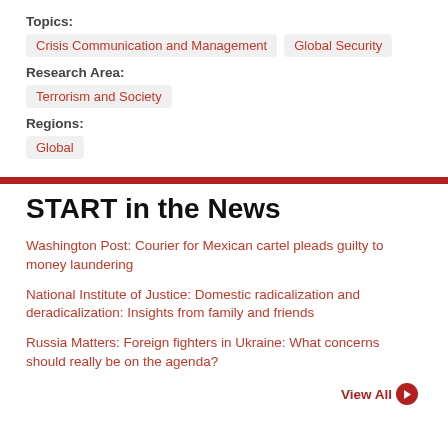Topics:
Crisis Communication and Management
Global Security
Research Area:
Terrorism and Society
Regions:
Global
START in the News
Washington Post: Courier for Mexican cartel pleads guilty to money laundering
National Institute of Justice: Domestic radicalization and deradicalization: Insights from family and friends
Russia Matters: Foreign fighters in Ukraine: What concerns should really be on the agenda?
View All